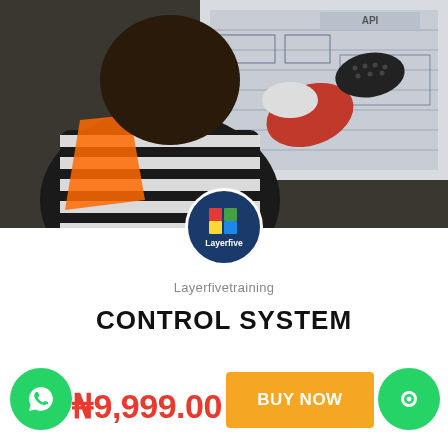[Figure (photo): Person wearing orange safety vest and black-and-white striped shirt, with gloved hands, reviewing engineering/technical drawings/blueprints pinned to a board. API document visible in upper right.]
[Figure (logo): Layerfive circular logo with colored geometric squares (red, green, blue, yellow) on dark navy background with text 'Layerfive']
Layerfivetraining
CONTROL SYSTEM
₦9,999.00
BUY NOW